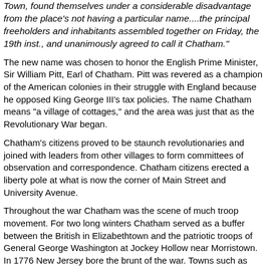Town, found themselves under a considerable disadvantage from the place's not having a particular name....the principal freeholders and inhabitants assembled together on Friday, the 19th inst., and unanimously agreed to call it Chatham."
The new name was chosen to honor the English Prime Minister, Sir William Pitt, Earl of Chatham. Pitt was revered as a champion of the American colonies in their struggle with England because he opposed King George III's tax policies. The name Chatham means "a village of cottages," and the area was just that as the Revolutionary War began.
Chatham's citizens proved to be staunch revolutionaries and joined with leaders from other villages to form committees of observation and correspondence. Chatham citizens erected a liberty pole at what is now the corner of Main Street and University Avenue.
Throughout the war Chatham was the scene of much troop movement. For two long winters Chatham served as a buffer between the British in Elizabethtown and the patriotic troops of General George Washington at Jockey Hollow near Morristown. In 1776 New Jersey bore the brunt of the war. Towns such as Chatham and Springfield were expected to hold against any enemy advance to the west.